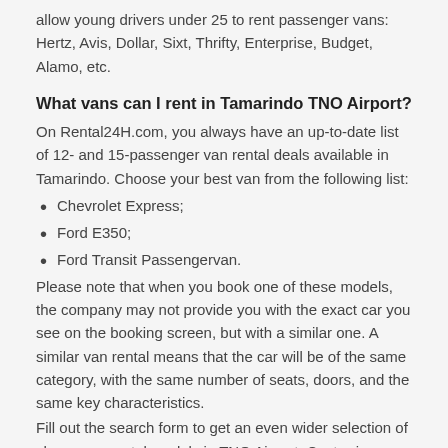allow young drivers under 25 to rent passenger vans: Hertz, Avis, Dollar, Sixt, Thrifty, Enterprise, Budget, Alamo, etc.
What vans can I rent in Tamarindo TNO Airport?
On Rental24H.com, you always have an up-to-date list of 12- and 15-passenger van rental deals available in Tamarindo. Choose your best van from the following list:
Chevrolet Express;
Ford E350;
Ford Transit Passengervan.
Please note that when you book one of these models, the company may not provide you with the exact car you see on the booking screen, but with a similar one. A similar van rental means that the car will be of the same category, with the same number of seats, doors, and the same key characteristics.
Fill out the search form to get an even wider selection of cheap van rental models in TNO Airport, Costa-rica.
Can I rent a particular passenger van model in Tamarindo Airport?